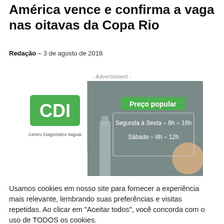América vence e confirma a vaga nas oitavas da Copa Rio
Redação – 3 de agosto de 2018
- Advertisment -
[Figure (photo): CDI Centro Diagnóstico Itaguai advertisement banner. Left side shows CDI logo on white background. Right side shows grey background with green badge 'Preço popular', and text: Segunda à Sexta – 8h – 18h, Sábado – 8h – 12h.]
Usamos cookies em nosso site para fornecer a experiência mais relevante, lembrando suas preferências e visitas repetidas. Ao clicar em "Aceitar todos", você concorda com o uso de TODOS os cookies.
Aceitar todos